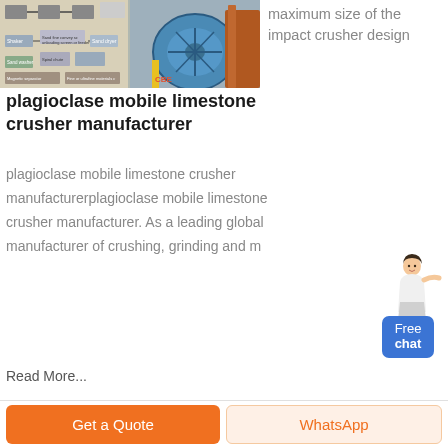[Figure (photo): Industrial machinery/crusher equipment photo and process flow diagram]
maximum size of the impact crusher design
plagioclase mobile limestone crusher manufacturer
plagioclase mobile limestone crusher manufacturerplagioclase mobile limestone crusher manufacturer. As a leading global manufacturer of crushing, grinding and m
Read More...
[Figure (illustration): Female customer service representative with Free chat button widget]
Get a Quote
WhatsApp